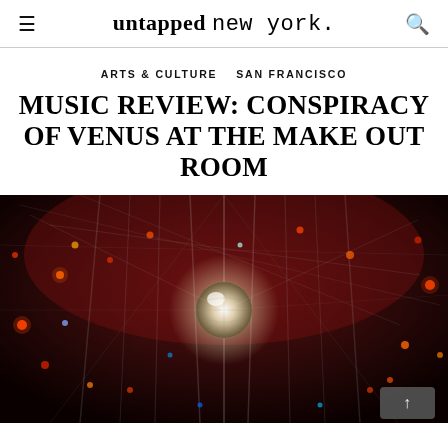untapped new york.
ARTS & CULTURE  SAN FRANCISCO
MUSIC REVIEW: CONSPIRACY OF VENUS AT THE MAKE OUT ROOM
[Figure (photo): Dark atmospheric photo of a venue interior with a mirror ball / disco ball at center, surrounded by hanging transparent drapes and colorful string lights against a deep red background. A gray scroll-to-top button with an upward arrow is visible in the bottom right corner.]